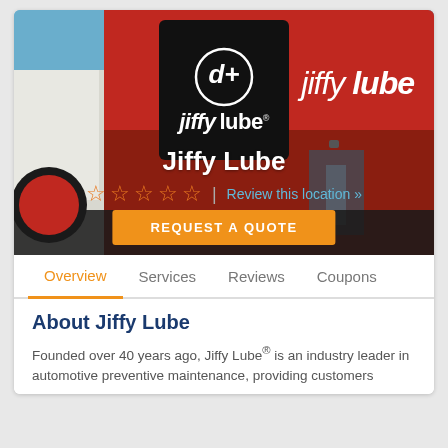[Figure (photo): Jiffy Lube storefront with red building exterior, blue sky, and Jiffy Lube logo black box overlay. Business name 'Jiffy Lube', five empty star rating, 'Review this location' link, and 'REQUEST A QUOTE' orange button shown on the hero image.]
Overview | Services | Reviews | Coupons
About Jiffy Lube
Founded over 40 years ago, Jiffy Lube® is an industry leader in automotive preventive maintenance, providing customers